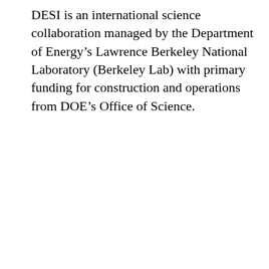DESI is an international science collaboration managed by the Department of Energy's Lawrence Berkeley National Laboratory (Berkeley Lab) with primary funding for construction and operations from DOE's Office of Science.